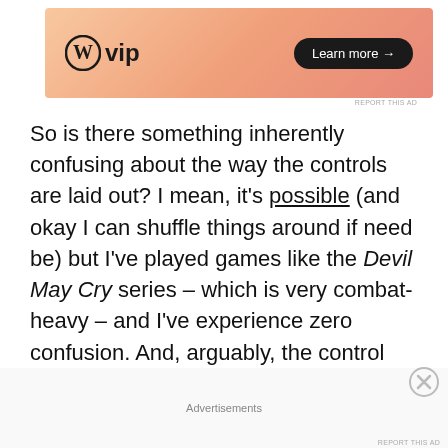[Figure (other): WordPress VIP advertisement banner with gradient background, WP logo, and Learn more button]
So is there something inherently confusing about the way the controls are laid out? I mean, it's possible (and okay I can shuffle things around if need be) but I've played games like the Devil May Cry series – which is very combat-heavy – and I've experience zero confusion. And, arguably, the control system to Devil May Cry 4 is a bit more complicated than Super Smash Bros Ultimate. There's sword attack, projectile
Advertisements